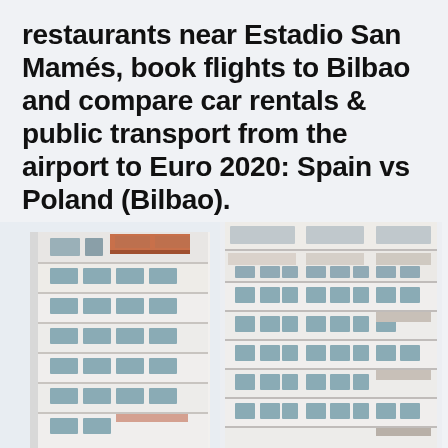restaurants near Estadio San Mamés, book flights to Bilbao and compare car rentals & public transport from the airport to Euro 2020: Spain vs Poland (Bilbao).
[Figure (photo): Two photographs of multi-story residential/hotel buildings with balconies and windows, shown side by side. Left building is white with many floors of balconies; one balcony has an orange/red awning near the top. Right building is also white/light colored with multiple floors showing windows, awnings, and balcony railings.]